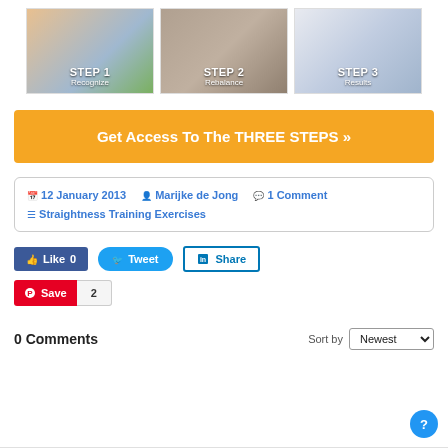[Figure (photo): Three step images: Step 1 Recognize (woman in pink with circular diagrams), Step 2 Rebalance (person walking horse), Step 3 Results (3D book/box product image)]
Get Access To The THREE STEPS »
📅 12 January 2013  👤 Marijke de Jong  💬 1 Comment  ☰ Straightness Training Exercises
Like 0  Tweet  Share
Save  2
0 Comments
Sort by Newest